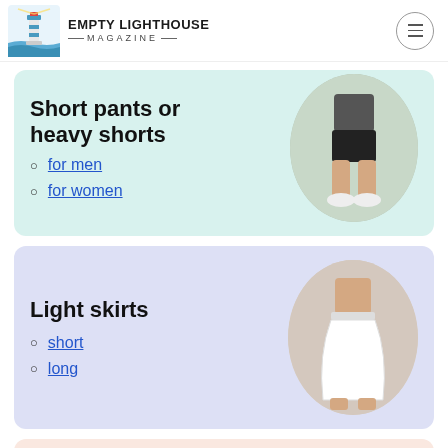EMPTY LIGHTHOUSE MAGAZINE
Short pants or heavy shorts
for men
for women
[Figure (photo): Person wearing black shorts, white sneakers, standing]
Light skirts
short
long
[Figure (photo): Person wearing white skirt]
Long and short sleeve shirts